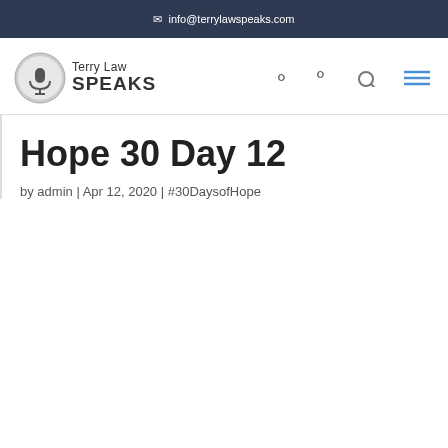info@terrylawspeaks.com
[Figure (logo): Terry Law Speaks logo with microphone icon circle and text 'Terry Law SPEAKS']
Hope 30 Day 12
by admin | Apr 12, 2020 | #30DaysofHope